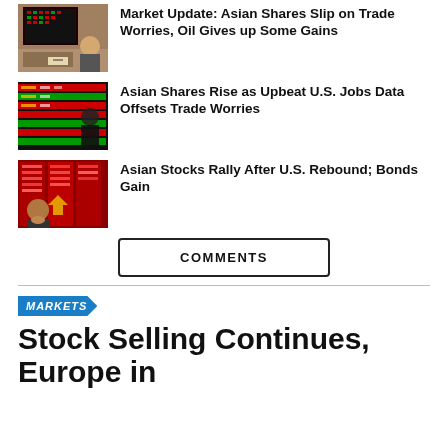[Figure (photo): Trading floor with screens showing stock data, person writing at desk]
Market Update: Asian Shares Slip on Trade Worries, Oil Gives up Some Gains
[Figure (photo): Stock market board with red and green numbers, trading screens]
Asian Shares Rise as Upbeat U.S. Jobs Data Offsets Trade Worries
[Figure (photo): Man looking at red stock market board with falling numbers]
Asian Stocks Rally After U.S. Rebound; Bonds Gain
COMMENTS
MARKETS
Stock Selling Continues, Europe in